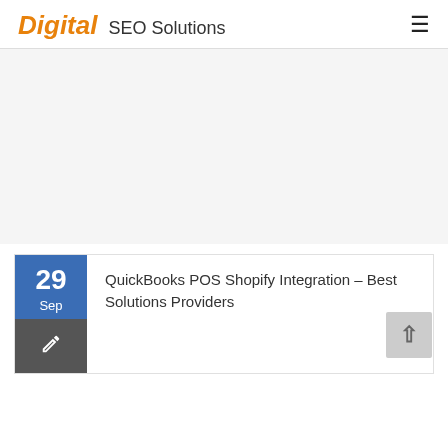Digital SEO Solutions
[Figure (other): Advertisement/blank area below header]
QuickBooks POS Shopify Integration – Best Solutions Providers